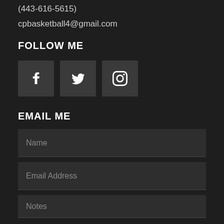(443-616-5615)
cpbasketball4@gmail.com
FOLLOW ME
[Figure (infographic): Three social media icon buttons: Facebook (f), Twitter (bird), Instagram (camera)]
EMAIL ME
Name
Email Address
Notes